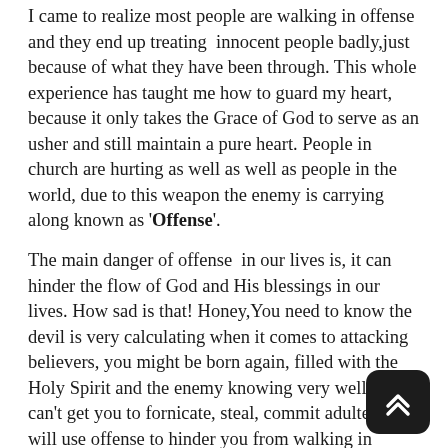I came to realize most people are walking in offense and they end up treating innocent people badly,just because of what they have been through. This whole experience has taught me how to guard my heart, because it only takes the Grace of God to serve as an usher and still maintain a pure heart. People in church are hurting as well as well as people in the world, due to this weapon the enemy is carrying along known as 'Offense'.
The main danger of offense in our lives is, it can hinder the flow of God and His blessings in our lives. How sad is that! Honey,You need to know the devil is very calculating when it comes to attacking believers, you might be born again, filled with the Holy Spirit and the enemy knowing very well he can't get you to fornicate, steal, commit adultery he will use offense to hinder you from walking in freedom, power and your breakthrough. It's purely God's desire that we do not become offended but we become dead to self.
In 2 Samuel 13:1-32 We have Absalom, King David s… who took offense against His half-brother Amnon personally and nursed over it for a very long period.